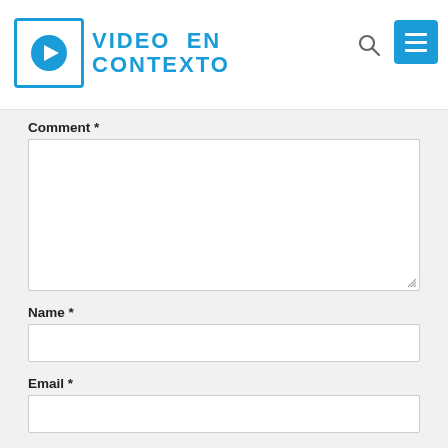[Figure (logo): Video en Contexto logo with play button icon in blue square and blue text reading VIDEO EN CONTEXTO]
Comment *
Name *
Email *
Website